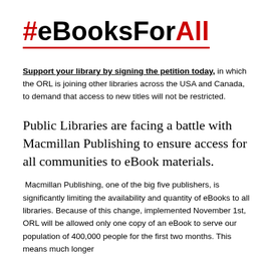#eBooksForAll
Support your library by signing the petition today, in which the ORL is joining other libraries across the USA and Canada, to demand that access to new titles will not be restricted.
Public Libraries are facing a battle with Macmillan Publishing to ensure access for all communities to eBook materials.
Macmillan Publishing, one of the big five publishers, is significantly limiting the availability and quantity of eBooks to all libraries. Because of this change, implemented November 1st, ORL will be allowed only one copy of an eBook to serve our population of 400,000 people for the first two months. This means much longer